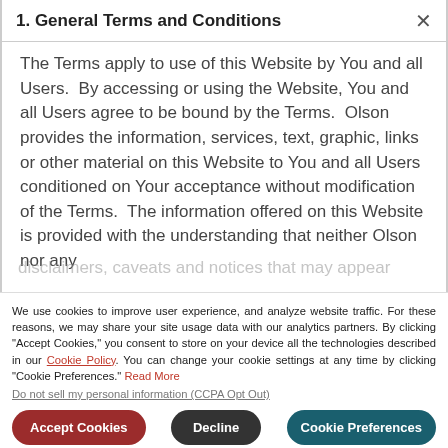1. General Terms and Conditions
The Terms apply to use of this Website by You and all Users.  By accessing or using the Website, You and all Users agree to be bound by the Terms.  Olson provides the information, services, text, graphic, links or other material on this Website to You and all Users conditioned on Your acceptance without modification of the Terms.  The information offered on this Website is provided with the understanding that neither Olson nor any
We use cookies to improve user experience, and analyze website traffic. For these reasons, we may share your site usage data with our analytics partners. By clicking "Accept Cookies," you consent to store on your device all the technologies described in our Cookie Policy. You can change your cookie settings at any time by clicking "Cookie Preferences." Read More
Do not sell my personal information (CCPA Opt Out)
Accept Cookies | Decline | Cookie Preferences